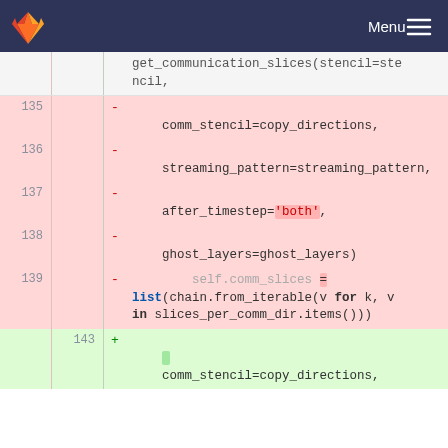[Figure (screenshot): GitLab navigation bar with logo and Menu button]
get_communication_slices(stencil=stencil,
135  -  comm_stencil=copy_directions,
136  -  streaming_pattern=streaming_pattern,
137  -  after_timestep='both',
138  -  ghost_layers=ghost_layers)
139  -  self.comm_slices = list(chain.from_iterable(v for k, v in slices_per_comm_dir.items()))
143  +  comm_stencil=copy_directions,